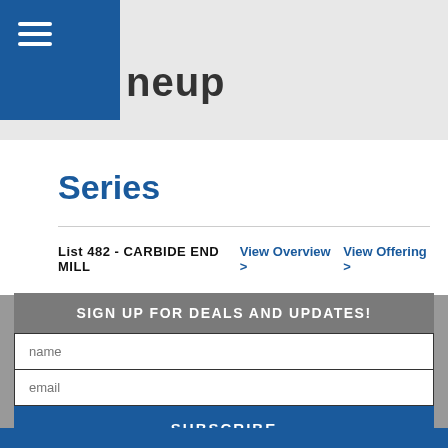neup
Series
List 482 - CARBIDE END MILL   View Overview >   View Offering >
SIGN UP FOR DEALS AND UPDATES!
name
email
SUBSCRIBE